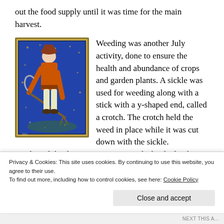out the food supply until it was time for the main harvest.
[Figure (illustration): Medieval illuminated manuscript illustration showing a figure in orange clothing using a sickle and a long stick for weeding, standing on a blue-gold decorative background.]
Weeding was another July activity, done to ensure the health and abundance of crops and garden plants. A sickle was used for weeding along with a stick with a y-shaped end, called a crotch. The crotch held the weed in place while it was cut down with the sickle.
Nettle and thistle were common weeds that had to be
Privacy & Cookies: This site uses cookies. By continuing to use this website, you agree to their use.
To find out more, including how to control cookies, see here: Cookie Policy
Close and accept